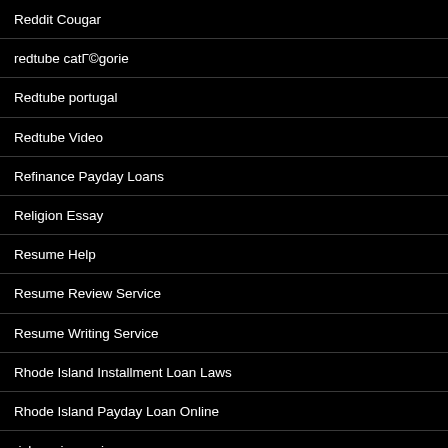Reddit Cougar
redtube catégorie
Redtube portugal
Redtube Video
Refinance Payday Loans
Religion Essay
Resume Help
Resume Review Service
Resume Writing Service
Rhode Island Installment Loan Laws
Rhode Island Payday Loan Online
rich casino reviews
Rise Payday Loan